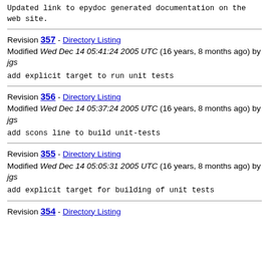Updated link to epydoc generated documentation on the web site.
Revision 357 - Directory Listing
Modified Wed Dec 14 05:41:24 2005 UTC (16 years, 8 months ago) by jgs
add explicit target to run unit tests
Revision 356 - Directory Listing
Modified Wed Dec 14 05:37:24 2005 UTC (16 years, 8 months ago) by jgs
add scons line to build unit-tests
Revision 355 - Directory Listing
Modified Wed Dec 14 05:05:31 2005 UTC (16 years, 8 months ago) by jgs
add explicit target for building of unit tests
Revision 354 - Directory Listing